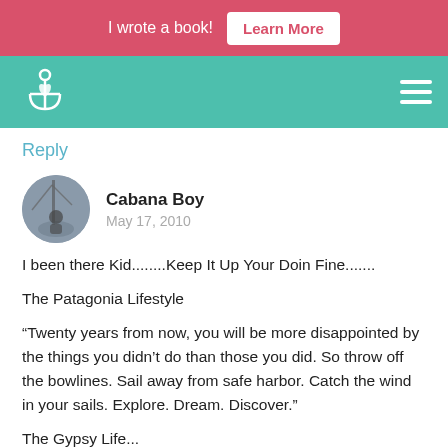I wrote a book! Learn More
[Figure (logo): Navigation bar with anchor/heart logo on teal background and hamburger menu icon]
Reply
[Figure (photo): Circular avatar photo of a person near sailboat rigging]
Cabana Boy
May 17, 2010
I been there Kid........Keep It Up Your Doin Fine.......
The Patagonia Lifestyle
“Twenty years from now, you will be more disappointed by the things you didn’t do than those you did. So throw off the bowlines. Sail away from safe harbor. Catch the wind in your sails. Explore. Dream. Discover.”
The Gypsy Life...